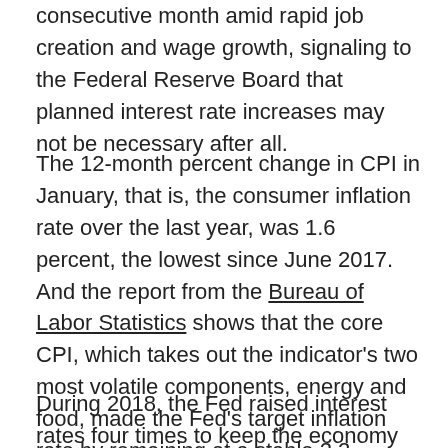consecutive month amid rapid job creation and wage growth, signaling to the Federal Reserve Board that planned interest rate increases may not be necessary after all.
The 12-month percent change in CPI in January, that is, the consumer inflation rate over the last year, was 1.6 percent, the lowest since June 2017. And the report from the Bureau of Labor Statistics shows that the core CPI, which takes out the indicator's two most volatile components, energy and food, made the Fed's target inflation rate by remaining at a stable 2.2 percent.
During 2018, the Fed raised interest rates four times to keep the economy from overheating, that is, from growing